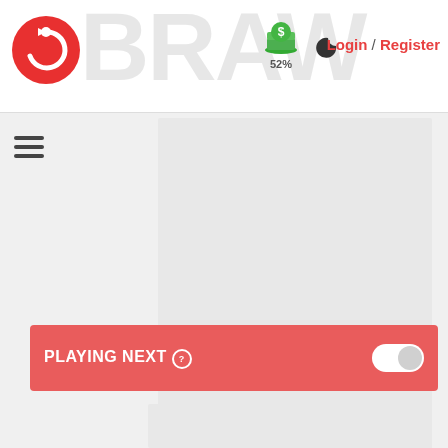[Figure (logo): Red circular refresh/reload logo icon on white background header]
[Figure (infographic): Green dollar/money icon with stack, labeled 52% below it]
[Figure (infographic): Dark crescent moon icon for dark mode toggle]
Login / Register
[Figure (infographic): Hamburger menu icon (three horizontal bars)]
[Figure (screenshot): Large light grey advertisement box with five loading bar indicators (pink vertical bars of increasing height) in the center-lower area]
Advertisement
PLAYING NEXT
[Figure (screenshot): Small light grey card/thumbnail at bottom of page]